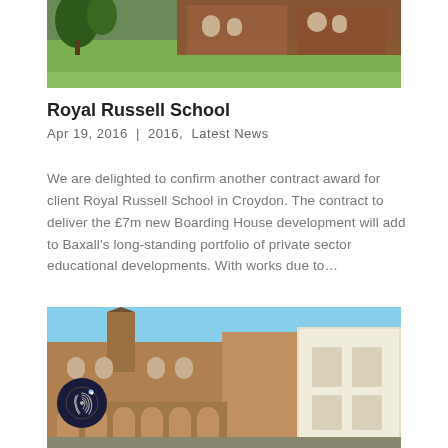[Figure (photo): Exterior photo of Royal Russell School building with red brick architecture and green lawn]
Royal Russell School
Apr 19, 2016 | 2016, Latest News
We are delighted to confirm another contract award for client Royal Russell School in Croydon. The contract to deliver the £7m new Boarding House development will add to Baxall's long-standing portfolio of private sector educational developments. With works due to…
[Figure (photo): Exterior photo of historic building with Victorian architecture, arched colonnades and clear blue sky]